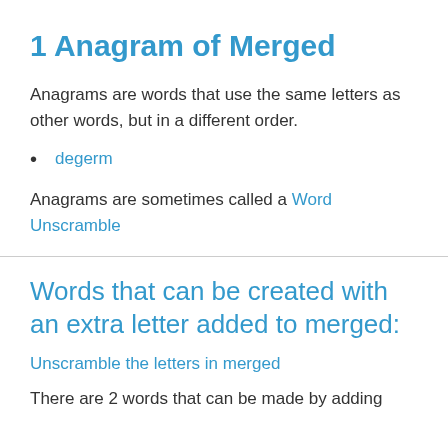1 Anagram of Merged
Anagrams are words that use the same letters as other words, but in a different order.
degerm
Anagrams are sometimes called a Word Unscramble
Words that can be created with an extra letter added to merged:
Unscramble the letters in merged
There are 2 words that can be made by adding